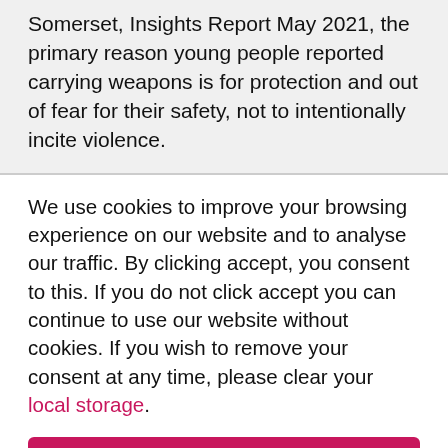Somerset, Insights Report May 2021, the primary reason young people reported carrying weapons is for protection and out of fear for their safety, not to intentionally incite violence.
We use cookies to improve your browsing experience on our website and to analyse our traffic. By clicking accept, you consent to this. If you do not click accept you can continue to use our website without cookies. If you wish to remove your consent at any time, please clear your local storage.
Accept >